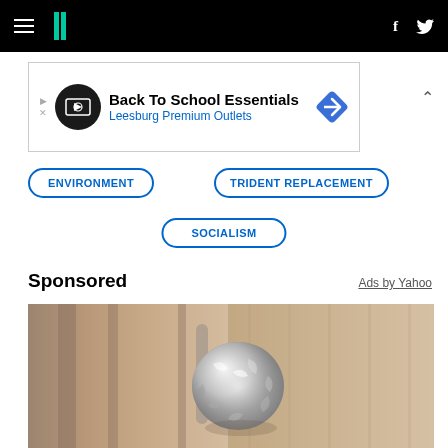HuffPost navigation bar with hamburger menu, logo, Facebook and Twitter icons
[Figure (screenshot): Advertisement banner for Back To School Essentials at Leesburg Premium Outlets]
ENVIRONMENT
TRIDENT REPLACEMENT
SOCIALISM
Sponsored
Ads by Yahoo
[Figure (photo): A door knob wrapped in aluminum foil]